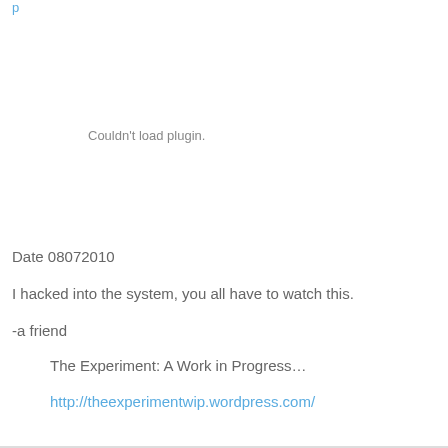p
Couldn't load plugin.
Date 08072010
I hacked into the system, you all have to watch this.
-a friend
The Experiment: A Work in Progress…
http://theexperimentwip.wordpress.com/